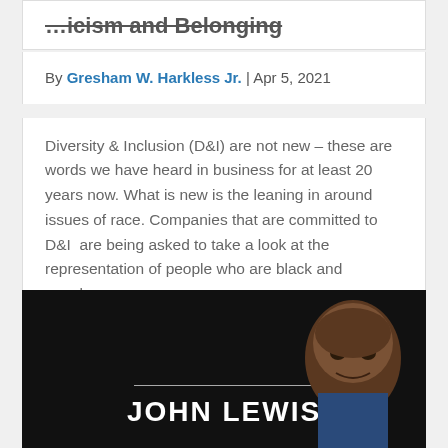…icism and Belonging
By Gresham W. Harkless Jr. | Apr 5, 2021
Diversity & Inclusion (D&I) are not new – these are words we have heard in business for at least 20 years now. What is new is the leaning in around issues of race. Companies that are committed to D&I  are being asked to take a look at the representation of people who are black and people…
Read More
[Figure (photo): Dark background photo showing John Lewis. Large white bold text reads 'JOHN LEWIS' with a horizontal line above it. A man's face is visible on the right side of the image.]